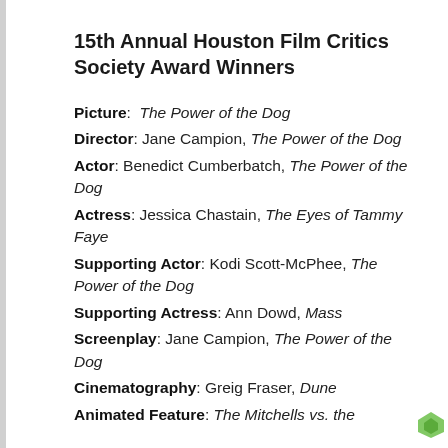15th Annual Houston Film Critics Society Award Winners
Picture: The Power of the Dog
Director: Jane Campion, The Power of the Dog
Actor: Benedict Cumberbatch, The Power of the Dog
Actress: Jessica Chastain, The Eyes of Tammy Faye
Supporting Actor: Kodi Scott-McPhee, The Power of the Dog
Supporting Actress: Ann Dowd, Mass
Screenplay: Jane Campion, The Power of the Dog
Cinematography: Greig Fraser, Dune
Animated Feature: The Mitchells vs. the